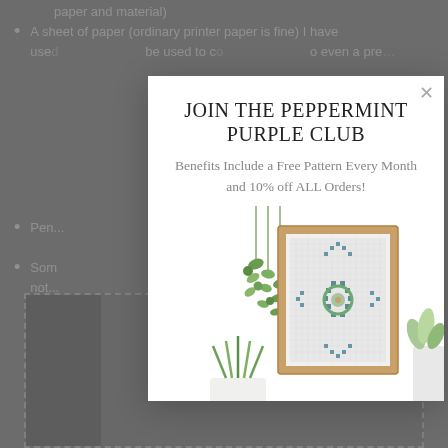paper and material)
A sheet of paper (ordinary printer paper is fine) I have use... be used to c... o even a pre...
Pen...
Som... used tem... s it's not...
[Figure (screenshot): Modal popup overlay with title 'JOIN THE PEPPERMINT PURPLE CLUB', subtitle 'Benefits Include a Free Pattern Every Month and 10% off ALL Orders!', and an illustration of framed cross-stitch artwork with hanging plants]
JOIN THE PEPPERMINT PURPLE CLUB
Benefits Include a Free Pattern Every Month
and 10% off ALL Orders!